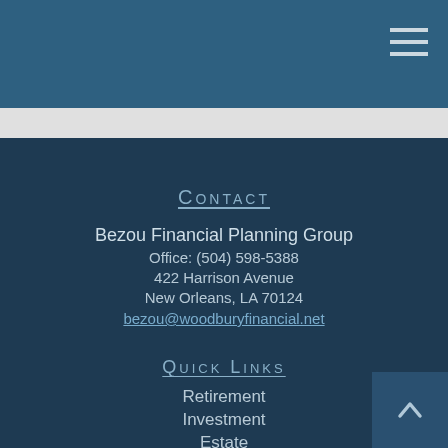Bezou Financial Planning Group - Navigation header
Contact
Bezou Financial Planning Group
Office: (504) 598-5388
422 Harrison Avenue
New Orleans, LA 70124
bezou@woodburyfinancial.net
Quick Links
Retirement
Investment
Estate
Insurance
Tax
Money
Lifestyle
All Articles